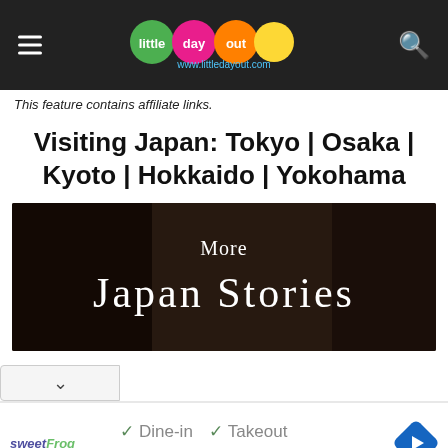little day out — www.littledayout.com
This feature contains affiliate links.
Visiting Japan: Tokyo | Osaka | Kyoto | Hokkaido | Yokohama
[Figure (illustration): Dark-toned promotional banner image showing a child at a table with text overlay 'More Japan Stories']
✓ Dine-in  ✓ Takeout  ✓ Delivery